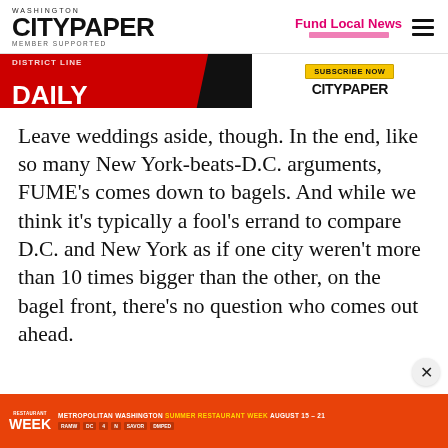WASHINGTON CITYPAPER MEMBER SUPPORTED | Fund Local News
[Figure (screenshot): Washington City Paper advertisement banner: red left section with 'DISTRICT LINE DAILY' text and black diagonal element; right section with yellow 'SUBSCRIBE NOW' button and CITYPAPER logo on white background]
Leave weddings aside, though. In the end, like so many New York-beats-D.C. arguments, FUME's comes down to bagels. And while we think it's typically a fool's errand to compare D.C. and New York as if one city weren't more than 10 times bigger than the other, on the bagel front, there's no question who comes out ahead.
[Figure (screenshot): Metropolitan Washington Summer Restaurant Week August 15-21 advertisement banner in orange-red with restaurant week logo and sponsor logos]